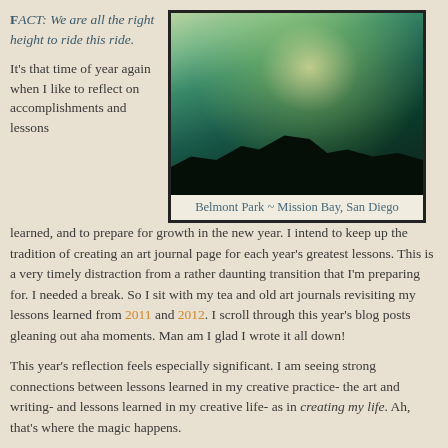FACT: We are all the right height to ride this ride.
[Figure (photo): Silhouette of Belmont Park roller coaster and palm trees against a bright sunlit sky, Mission Bay, San Diego. Dark foreground with green-teal sky and bright sunburst.]
Belmont Park ~ Mission Bay, San Diego
It's that time of year again when I like to reflect on accomplishments and lessons learned, and to prepare for growth in the new year. I intend to keep up the tradition of creating an art journal page for each year's greatest lessons. This is a very timely distraction from a rather daunting transition that I'm preparing for. I needed a break. So I sit with my tea and old art journals revisiting my lessons learned from 2011 and 2012. I scroll through this year's blog posts gleaning out aha moments. Man am I glad I wrote it all down!
This year's reflection feels especially significant. I am seeing strong connections between lessons learned in my creative practice- the art and writing- and lessons learned in my creative life- as in creating my life. Ah, that's where the magic happens.